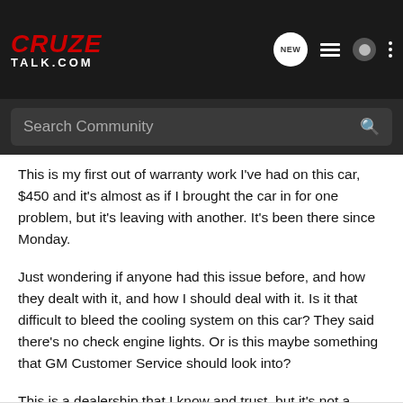CRUZE TALK.COM
Search Community
This is my first out of warranty work I've had on this car, $450 and it's almost as if I brought the car in for one problem, but it's leaving with another. It's been there since Monday.
Just wondering if anyone had this issue before, and how they dealt with it, and how I should deal with it. Is it that difficult to bleed the cooling system on this car? They said there's no check engine lights. Or is this maybe something that GM Customer Service should look into?
This is a dealership that I know and trust, but it's not a Chevrolet dealership, it's Buick GMC Cadillac, still they should be able to make it right.